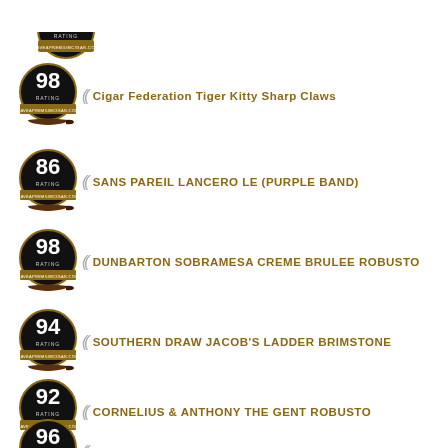[Figure (logo): Cigar rating badge showing 98 rating with HAVEANCIGAR.COM text - partial at top]
98 - Cigar Federation Tiger Kitty Sharp Claws
86 - SANS PAREIL LANCERO LE (PURPLE BAND)
98 - DUNBARTON SOBRAMESA CREME BRULEE ROBUSTO
94 - SOUTHERN DRAW JACOB'S LADDER BRIMSTONE
92 - CORNELIUS & ANTHONY THE GENT ROBUSTO
96 - ROMA CRAFT INTEMPERANCE